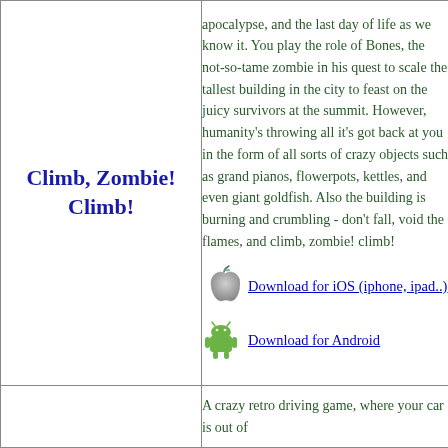Climb, Zombie! Climb!
apocalypse, and the last day of life as we know it. You play the role of Bones, the not-so-tame zombie in his quest to scale the tallest building in the city to feast on the juicy survivors at the summit. However, humanity's throwing all it's got back at you in the form of all sorts of crazy objects such as grand pianos, flowerpots, kettles, and even giant goldfish. Also the building is burning and crumbling - don't fall, void the flames, and climb, zombie! climb!
Download for iOS (iphone, ipad..)
Download for Android
A crazy retro driving game, where your car is out of